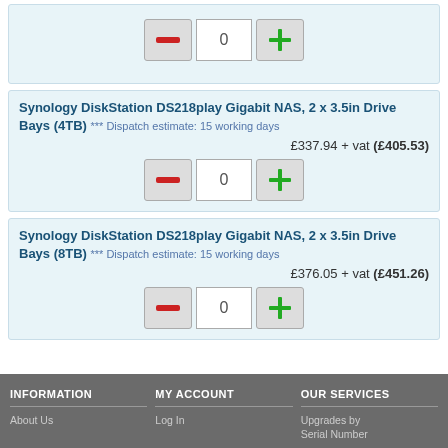[Figure (screenshot): Partial product card from top of page showing quantity controls with minus button, 0 input box, and plus button]
Synology DiskStation DS218play Gigabit NAS, 2 x 3.5in Drive Bays (4TB) *** Dispatch estimate: 15 working days
£337.94 + vat (£405.53)
[Figure (screenshot): Quantity controls: minus button, 0 input, plus button for 4TB product]
Synology DiskStation DS218play Gigabit NAS, 2 x 3.5in Drive Bays (8TB) *** Dispatch estimate: 15 working days
£376.05 + vat (£451.26)
[Figure (screenshot): Quantity controls: minus button, 0 input, plus button for 8TB product]
INFORMATION | MY ACCOUNT | OUR SERVICES
About Us | Log In | Upgrades by Serial Number